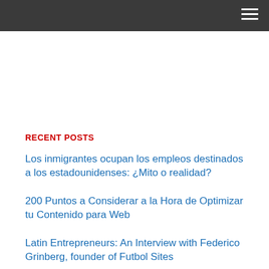RECENT POSTS
Los inmigrantes ocupan los empleos destinados a los estadounidenses: ¿Mito o realidad?
200 Puntos a Considerar a la Hora de Optimizar tu Contenido para Web
Latin Entrepreneurs: An Interview with Federico Grinberg, founder of Futbol Sites